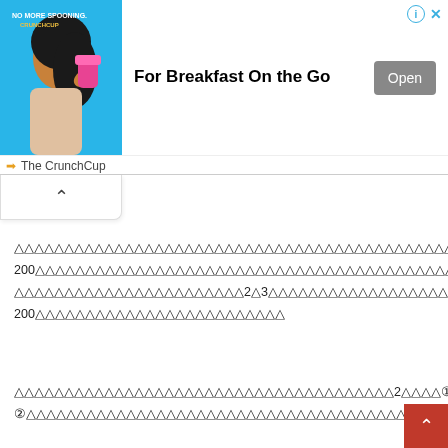[Figure (screenshot): Advertisement banner for The CrunchCup product showing a woman drinking from a pink cup against a blue background, with bold text 'For Breakfast On the Go' and an 'Open' button. Info row shows arrow icon and 'The CrunchCup' brand name. Top-right has circled i and X icons.]
△△△△△△△△△△△△△△△△△△△△△△△△△△△△△△△△△△△△△△△△△△△△△△△△△△△△△△△△△△△△△△△△△△△△△△△△△△△△ 200△△△△△△△△△△△△△△△△△△△△△△△△△△△△△△△△△△△△△△△△△△△△△△△△△△△△△△△△△△△△△△△△△△△△△△△△△△△△△△△△△△△△△△△△△△△△△△△△△△△ △△△△△△△△△△△△△△△△△△△△△△△2△3△△△△△△△△△△△△△△△△△△△△△△△△△△△△△△△△△△△△△△△△△△△△△△△△△△△△△△△△△△△△△△△△△△△△△△△△△△△△△△△△ 200△△△△△△△△△△△△△△△△△△△△△△△
△△△△△△△△△△△△△△△△△△△△△△△△△△△△△△△△△△△△△△2△△△△①△△△△△△△△△△△△△△△△△△△△△△△△△△△△△△△△△△△△△△△△△△ ②△△△△△△△△△△△△△△△△△△△△△△△△△△△△△△△△△△△△△△△△△△△△△△△△△△△△△△△△△△△△△△△△△△△△△△△△△△△△△△△△△△△△△△△△△△△△△